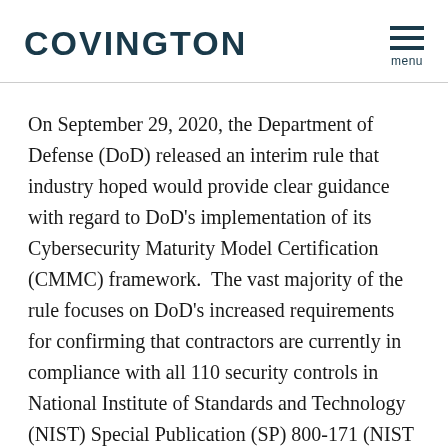COVINGTON
On September 29, 2020, the Department of Defense (DoD) released an interim rule that industry hoped would provide clear guidance with regard to DoD’s implementation of its Cybersecurity Maturity Model Certification (CMMC) framework.  The vast majority of the rule focuses on DoD’s increased requirements for confirming that contractors are currently in compliance with all 110 security controls in National Institute of Standards and Technology (NIST) Special Publication (SP) 800-171 (NIST 800-171).  The interim rule also includes a clause for adding CMMC...